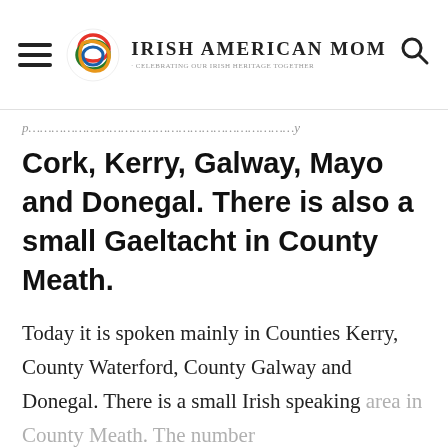Irish American Mom - Celebrating Our Irish Heritage Together
Cork, Kerry, Galway, Mayo and Donegal. There is also a small Gaeltacht in County Meath.
Today it is spoken mainly in Counties Kerry, County Waterford, County Galway and Donegal. There is a small Irish speaking area in County Meath. The number